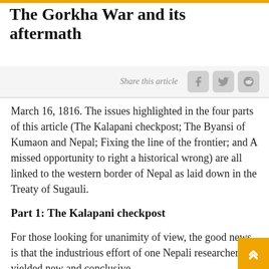The Gorkha War and its aftermath
Share this article
March 16, 1816. The issues highlighted in the four parts of this article (The Kalapani checkpost; The Byansi of Kumaon and Nepal; Fixing the line of the frontier; and A missed opportunity to right a historical wrong) are all linked to the western border of Nepal as laid down in the Treaty of Sugauli.
Part 1: The Kalapani checkpost
For those looking for unanimity of view, the good news is that the industrious effort of one Nepali researcher has yielded new and conclusive